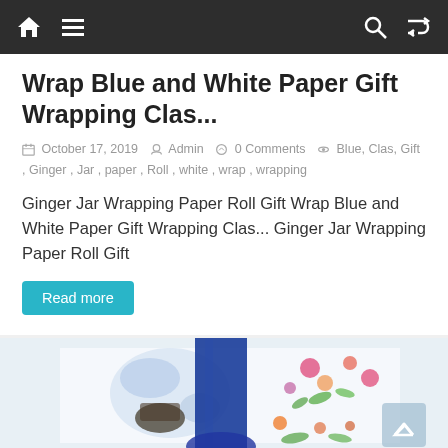Navigation bar with home, menu, search, and shuffle icons
Wrap Blue and White Paper Gift Wrapping Clas...
October 17, 2019  Admin  0 Comments  Blue, Clas, Gift, Ginger, Jar, paper, Roll, white, wrap, wrapping
Ginger Jar Wrapping Paper Roll Gift Wrap Blue and White Paper Gift Wrapping Clas... Ginger Jar Wrapping Paper Roll Gift
Read more
[Figure (photo): A blue and white floral patterned gift wrapped with a wide royal blue satin ribbon, partially visible at the bottom of the page]